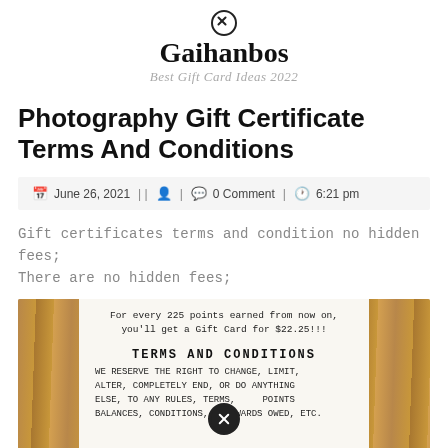Gaihanbos
Best Gift Card Ideas 2022
Photography Gift Certificate Terms And Conditions
June 26, 2021 || [user icon] | [comment icon] 0 Comment | [clock icon] 6:21 pm
Gift certificates terms and condition no hidden fees; There are no hidden fees;
[Figure (photo): Photo of a printed receipt on a wooden surface showing terms and conditions text. The receipt reads: 'For every 225 points earned from now on, you'll get a Gift Card for $22.25!!!' followed by 'TERMS AND CONDITIONS' in bold, then 'WE RESERVE THE RIGHT TO CHANGE, LIMIT, ALTER, COMPLETELY END, OR DO ANYTHING ELSE, TO ANY RULES, TERMS, POINTS BALANCES, CONDITIONS, REWARDS OWED, ETC.' A circular watermark/logo icon is overlaid on the lower portion of the image.]